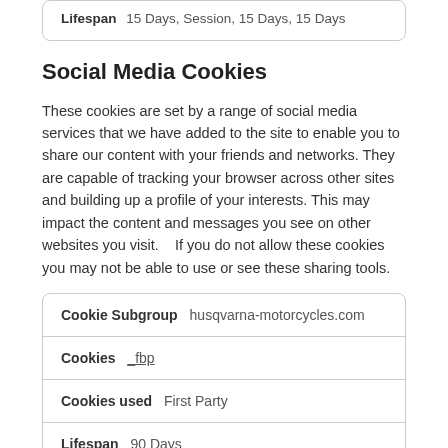| Field | Value |
| --- | --- |
| Lifespan | 15 Days, Session, 15 Days, 15 Days |
Social Media Cookies
These cookies are set by a range of social media services that we have added to the site to enable you to share our content with your friends and networks. They are capable of tracking your browser across other sites and building up a profile of your interests. This may impact the content and messages you see on other websites you visit.    If you do not allow these cookies you may not be able to use or see these sharing tools.
| Field | Value |
| --- | --- |
| Cookie Subgroup | husqvarna-motorcycles.com |
| Cookies | _fbp |
| Cookies used | First Party |
| Lifespan | 90 Days |